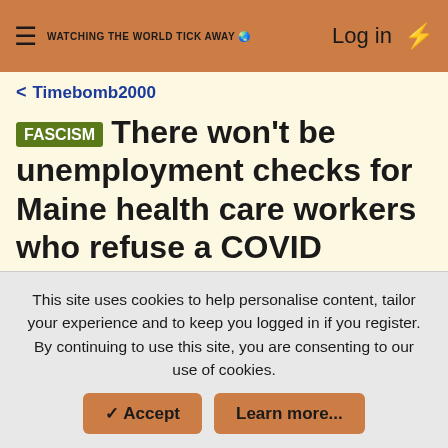≡ WATCHING THE WORLD TICK AWAY  Log in ⚡
< Timebomb2000
FASCISM There won't be unemployment checks for Maine health care workers who refuse a COVID vaccine
NHGUNNER · Oct 15, 2021
N NHGUNNER Contributing Member
This site uses cookies to help personalise content, tailor your experience and to keep you logged in if you register. By continuing to use this site, you are consenting to our use of cookies.
✓ Accept  Learn more...